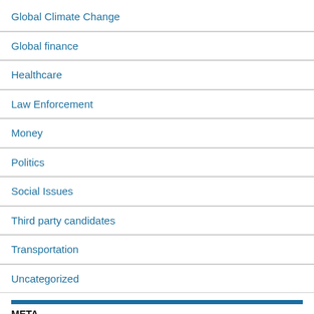Global Climate Change
Global finance
Healthcare
Law Enforcement
Money
Politics
Social Issues
Third party candidates
Transportation
Uncategorized
META